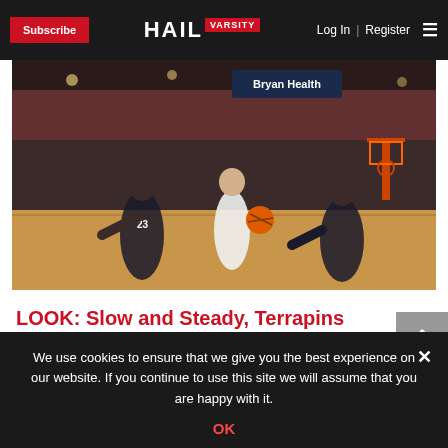Subscribe | HAIL VARSITY | Log In | Register
[Figure (photo): Basketball game action photo: Nebraska player in white uniform dribbling between two Maryland defenders in dark uniforms on an indoor court with crowd in background. Bryan Health sponsor sign visible.]
LOOK: Slow and Steady, Terrapins Push Past Nebraska
We use cookies to ensure that we give you the best experience on our website. If you continue to use this site we will assume that you are happy with it.
OK